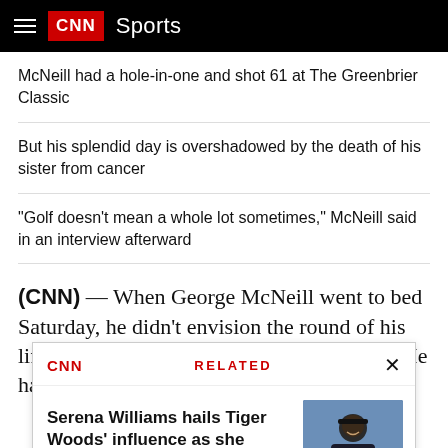CNN Sports
McNeill had a hole-in-one and shot 61 at The Greenbrier Classic
But his splendid day is overshadowed by the death of his sister from cancer
"Golf doesn't mean a whole lot sometimes," McNeill said in an interview afterward
(CNN) — When George McNeill went to bed Saturday, he didn't envision the round of his life the next day at The Greenbrier Classic. He had lost to his sister...
RELATED: Serena Williams hails Tiger Woods' influence as she continues her US Open run